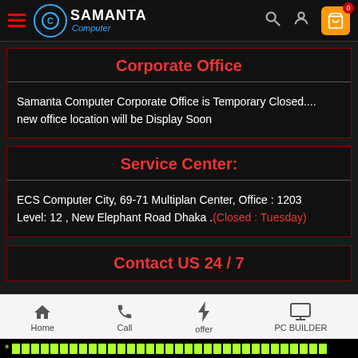[Figure (logo): Samanta Computer logo with hamburger menu, search icon, user icon, and shopping cart with 0 badge in dark header]
Corporate Office
Samanta Computer Corporate Office is Temporary Closed.... new office location will be Display Soon
Service Center:
ECS Computer City, 69-71 Multiplan Center, Office : 1203 Level: 12 , New Elephant Road Dhaka .(Closed : Tuesday)
Contact US 24 / 7
Home | Call | offer | PC BUILDER